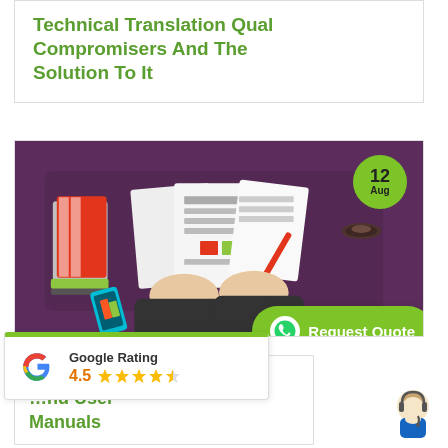Technical Translation Quality Compromisers And The Solution To It
[Figure (illustration): Top-down view of a person's hands reviewing documents on a dark purple desk with books, papers, a pencil, and a coffee cup. Date badge showing '12 Aug' in green circle top right.]
[Figure (infographic): Green WhatsApp-style button with phone icon and text 'Request Quote']
[Figure (logo): Google Rating badge showing 4.5 stars rating with the Google G logo]
…nslation …nd User Manuals